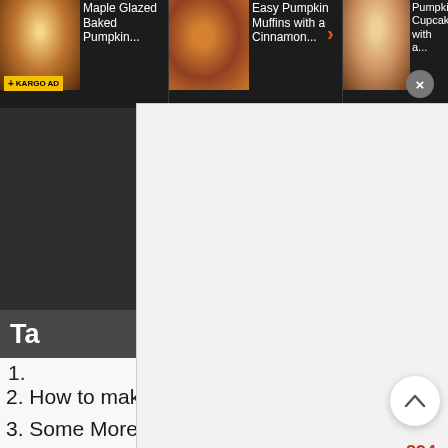[Figure (screenshot): Top dark banner showing ad carousel with three food/recipe thumbnails and text labels: 'Maple Glazed Baked Pumpkin', 'Easy Pumpkin Muffins with a Cinnamon...', 'Pumpkin Cupcakes with a...' along with KARGO AD label and close button]
[Figure (screenshot): White overlay box covering center of page (ad or content placeholder)]
Ta
1.
2. How to make Pumpkin Puree
3. Some More Pumpkin or Apple Recipes you may enjoy to welcome in Fall!
4. Maple Glazed Pumpkin Cinnamon Cake
4.1. Ingredients US CustomaryMetric 1x2x3x
4.1.1. FOR THE CAKE
4.1.2. MAPLE GLAZE
4.2. Instructions